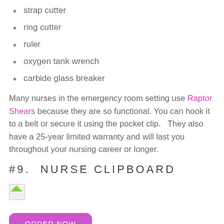strap cutter
ring cutter
ruler
oxygen tank wrench
carbide glass breaker
Many nurses in the emergency room setting use Raptor Shears because they are so functional. You can hook it to a belt or secure it using the pocket clip.   They also have a 25-year limited warranty and will last you throughout your nursing career or longer.
#9. NURSE CLIPBOARD
[Figure (photo): Broken/missing image placeholder]
ORDER NOW
Keeping a nurse clipboard with you is an easy, secure